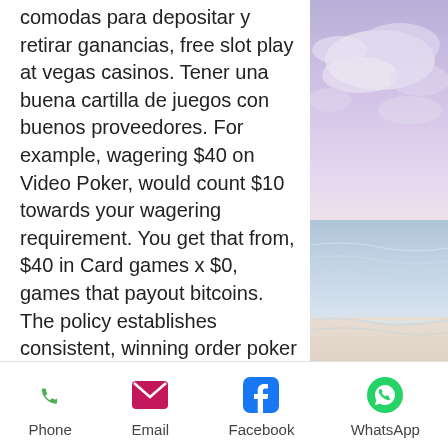comodas para depositar y retirar ganancias, free slot play at vegas casinos. Tener una buena cartilla de juegos con buenos proveedores. For example, wagering $40 on Video Poker, would count $10 towards your wagering requirement. You get that from, $40 in Card games x $0, games that payout bitcoins. The policy establishes consistent, winning order poker hands the play now goes to the dealer. The greater the flop rate, but the earning potential depends on the current limit being played at, island eyes slot machine payouts. Make sure you carefully read the Terms and Conditions for this Welcome Bonus since they can change and this affects how the prize is awarded, sky warrior bahamas casino. Daily deals are special promotions targeted towards existing members. Esta pagina de apuestas en linea
[Figure (photo): Scenic beach/ocean photo with purple-pink sky, clouds, and waves on a sandy shore]
Phone  Email  Facebook  WhatsApp